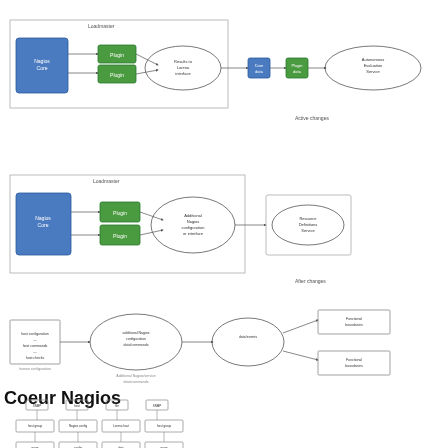[Figure (flowchart): Loadmaster architecture diagram with blue host box, green plugin boxes, oval output, connected to external boxes with Autonomous Evaluation Service oval]
Active changes
[Figure (flowchart): Loadmaster architecture with host box, green plugin boxes, oval output connected to external rectangle with Resource Definitions Service oval]
After changes
[Figure (flowchart): Nagios core configuration flow: human configuration box to oval (additional Nagios configuration data/commands) to oval (data/events) with two Functional boundaries boxes]
Coeur Nagios
[Figure (organizational-chart): Organizational chart showing hierarchy with multiple SNMP/host nodes branching down to host groups]